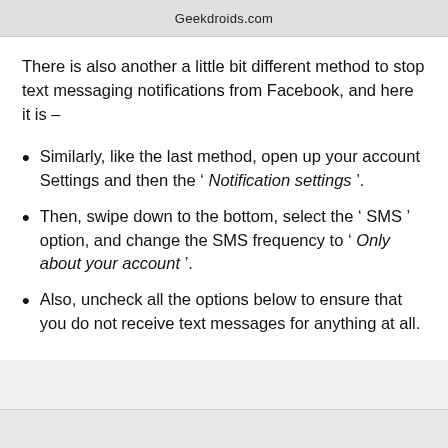Geekdroids.com
There is also another a little bit different method to stop text messaging notifications from Facebook, and here it is –
Similarly, like the last method, open up your account Settings and then the ' Notification settings '.
Then, swipe down to the bottom, select the ' SMS ' option, and change the SMS frequency to ' Only about your account '.
Also, uncheck all the options below to ensure that you do not receive text messages for anything at all.